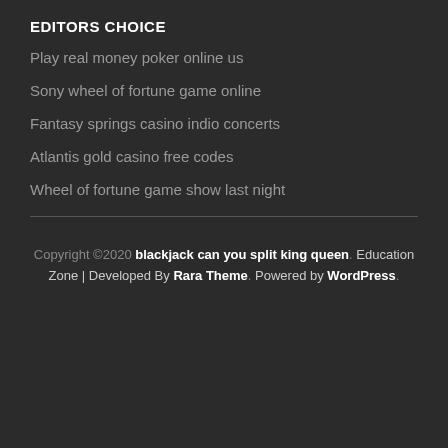EDITORS CHOICE
Play real money poker online us
Sony wheel of fortune game online
Fantasy springs casino indio concerts
Atlantis gold casino free codes
Wheel of fortune game show last night
Copyright ©2020 blackjack can you split king queen. Education Zone | Developed By Rara Theme. Powered by WordPress.